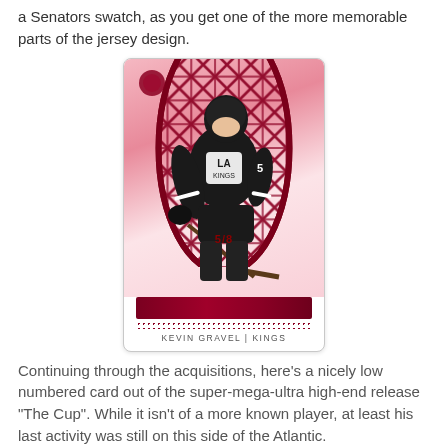a Senators swatch, as you get one of the more memorable parts of the jersey design.
[Figure (photo): Hockey trading card featuring Kevin Gravel of the Kings. Card has a pink/red gradient background with net pattern on sides, player in black LA Kings jersey, numbered 5/8 at bottom, with a dark red jersey swatch embedded. Caption reads KEVIN GRAVEL | KINGS.]
Continuing through the acquisitions, here's a nicely low numbered card out of the super-mega-ultra high-end release "The Cup". While it isn't of a more known player, at least his last activity was still on this side of the Atlantic.